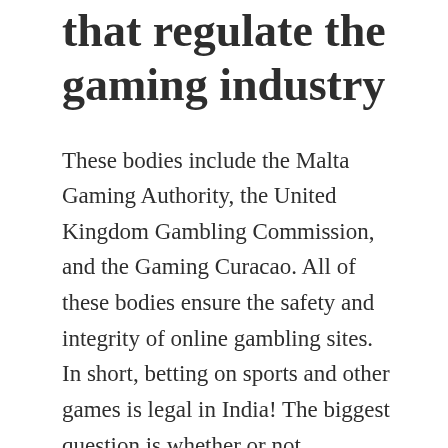that regulate the gaming industry
These bodies include the Malta Gaming Authority, the United Kingdom Gambling Commission, and the Gaming Curacao. All of these bodies ensure the safety and integrity of online gambling sites. In short, betting on sports and other games is legal in India! The biggest question is whether or not